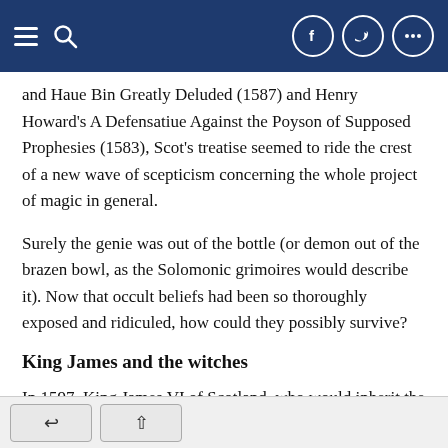Navigation bar with menu, search, Facebook, Twitter, and more buttons
and Haue Bin Greatly Deluded (1587) and Henry Howard's A Defensatiue Against the Poyson of Supposed Prophesies (1583), Scot's treatise seemed to ride the crest of a new wave of scepticism concerning the whole project of magic in general.
Surely the genie was out of the bottle (or demon out of the brazen bowl, as the Solomonic grimoires would describe it). Now that occult beliefs had been so thoroughly exposed and ridiculed, how could they possibly survive?
King James and the witches
In 1597, King James VI of Scotland, who would inherit the English throne in 1603, published an extraordinary treatise Daemonologie. The book argues that the